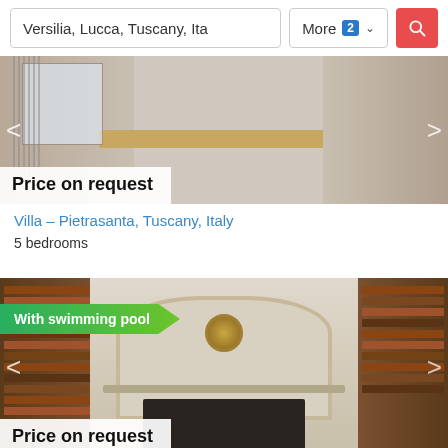Versilia, Lucca, Tuscany, Ita | More 2 ▾ [search]
[Figure (photo): Interior photo of a villa kitchen/dining area with wooden counters, curtains, and kitchen appliances. Navigation arrows on sides. Price tag overlay: Price on request]
Villa – Pietrasanta, Tuscany, Italy
5 bedrooms
[Figure (photo): Interior photo of a villa living room with fireplace, bookshelves, and decorative clock/medallion. Green banner: With swimming pool. Navigation arrows on sides. Price tag overlay: Price on request]